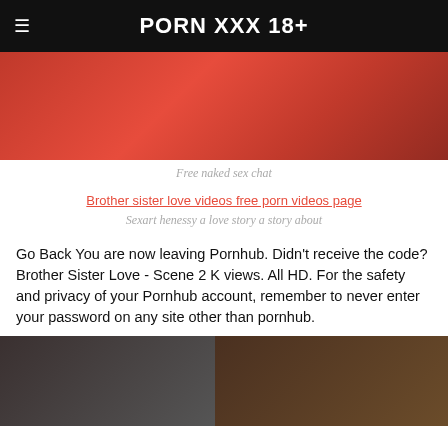PORN XXX 18+
[Figure (photo): Partial photo with red/pink tones, appears to show a person on a bed with red/pink bedding]
Free naked sex chat
Brother sister love videos free porn videos page
Sexart henessy a love story a story about
Go Back You are now leaving Pornhub. Didn't receive the code? Brother Sister Love - Scene 2 K views. All HD. For the safety and privacy of your Pornhub account, remember to never enter your password on any site other than pornhub.
[Figure (photo): Video thumbnail showing two people, dark background on left side, lighter room on right side]